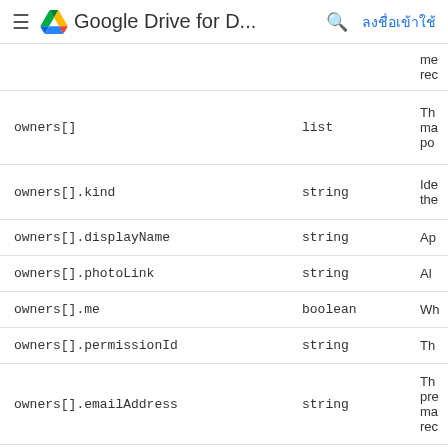Google Drive for D... ลงชื่อเข้าใช้
| Property | Type | Description |
| --- | --- | --- |
|  |  | me
rec |
| owners[] | list | Th
ma
po |
| owners[].kind | string | Ide
the |
| owners[].displayName | string | Ap |
| owners[].photoLink | string | Al |
| owners[].me | boolean | Wh |
| owners[].permissionId | string | Th |
| owners[].emailAddress | string | Th
pre
ma
rec |